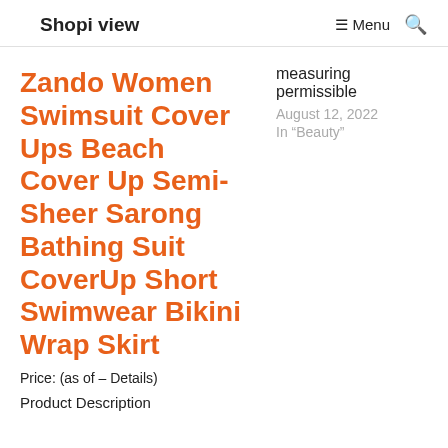Shopi view  ☰ Menu  🔍
measuring permissible
August 12, 2022
In "Beauty"
Zando Women Swimsuit Cover Ups Beach Cover Up Semi-Sheer Sarong Bathing Suit CoverUp Short Swimwear Bikini Wrap Skirt
Price: (as of - Details)
Product Description